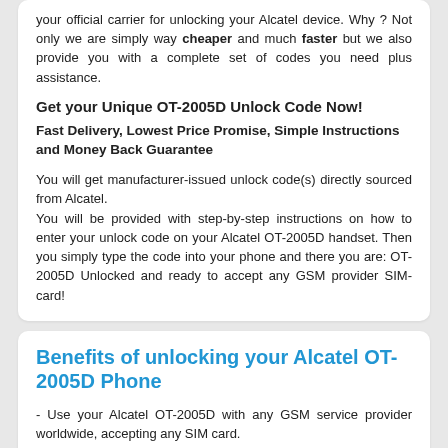your official carrier for unlocking your Alcatel device. Why ? Not only we are simply way cheaper and much faster but we also provide you with a complete set of codes you need plus assistance.
Get your Unique OT-2005D Unlock Code Now!
Fast Delivery, Lowest Price Promise, Simple Instructions and Money Back Guarantee
You will get manufacturer-issued unlock code(s) directly sourced from Alcatel. You will be provided with step-by-step instructions on how to enter your unlock code on your Alcatel OT-2005D handset. Then you simply type the code into your phone and there you are: OT-2005D Unlocked and ready to accept any GSM provider SIM-card!
Benefits of unlocking your Alcatel OT-2005D Phone
- Use your Alcatel OT-2005D with any GSM service provider worldwide, accepting any SIM card.
- Save money on roaming charges when you travel abroad (use local SIM card).
- Will not void factory your Alcatel phone warranty (Official Carriers use exactly the same method)
- Increase the resale value of your unlocked Alcatel OT-2005D.
- No need to send your phone away, or to waste time to local store: Quickly remote unlocking by code, from Your home!
- No technical knowledge required: If you can dial a telephone number, you